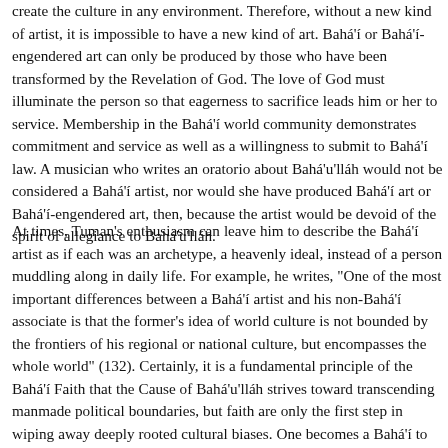create the culture in any environment. Therefore, without a new kind of artist, it is impossible to have a new kind of art. Bahá'í or Bahá'í-engendered art can only be produced by those who have been transformed by the Revelation of God. The love of God must illuminate the person so that eagerness to sacrifice leads him or her to service. Membership in the Bahá'í world community demonstrates commitment and service as well as a willingness to submit to Bahá'í law. A musician who writes an oratorio about Bahá'u'lláh would not be considered a Bahá'í artist, nor would she have produced Bahá'í art or Bahá'í-engendered art, then, because the artist would be devoid of the spirit of allegiance to Bahá'u'lláh.
At times, Tuman's enthusiasm can leave him to describe the Bahá'í artist as if each was an archetype, a heavenly ideal, instead of a person muddling along in daily life. For example, he writes, "One of the most important differences between a Bahá'í artist and his non-Bahá'í associate is that the former's idea of world culture is not bounded by the frontiers of his regional or national culture, but encompasses the whole world" (132). Certainly, it is a fundamental principle of the Bahá'í Faith that the Cause of Bahá'u'lláh strives toward transcending manmade political boundaries, but faith are only the first step in wiping away deeply rooted cultural biases. One becomes a Bahá'í to the extent that the love of Bahá'u'lláh fills his or her soul and guides them along the path of service. A Bahá'í is not a Bahá'í because he or she